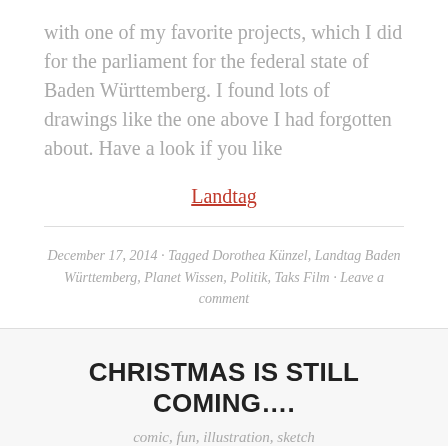with one of my favorite projects, which I did for the parliament for the federal state of Baden Württemberg. I found lots of drawings like the one above I had forgotten about. Have a look if you like
Landtag
December 17, 2014 · Tagged Dorothea Künzel, Landtag Baden Württemberg, Planet Wissen, Politik, Taks Film · Leave a comment
CHRISTMAS IS STILL COMING….
comic, fun, illustration, sketch